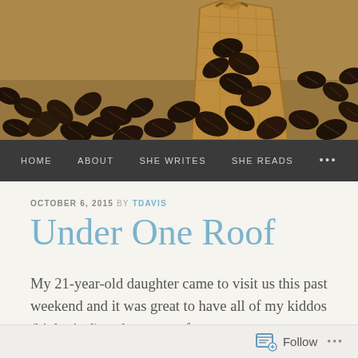[Figure (photo): Close-up photo of dark roasted coffee beans spilling from a burlap sack on a burlap/jute textile background]
HOME   ABOUT   SHE WRITES   SHE READS   ...
OCTOBER 6, 2015 BY TDAVIS
Under One Roof
My 21-year-old daughter came to visit us this past weekend and it was great to have all of my kiddos (biological) under one roof.
Follow ...